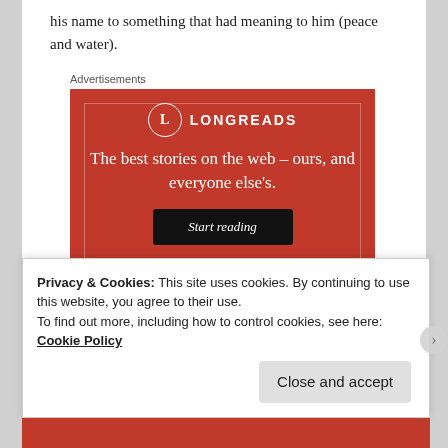his name to something that had meaning to him (peace and water).
Advertisements
[Figure (other): Longreads advertisement banner with red background, Longreads logo with circle L, tagline 'The best stories on the web – ours, and everyone else's.' and a 'Start reading' button]
Privacy & Cookies: This site uses cookies. By continuing to use this website, you agree to their use.
To find out more, including how to control cookies, see here: Cookie Policy
Close and accept